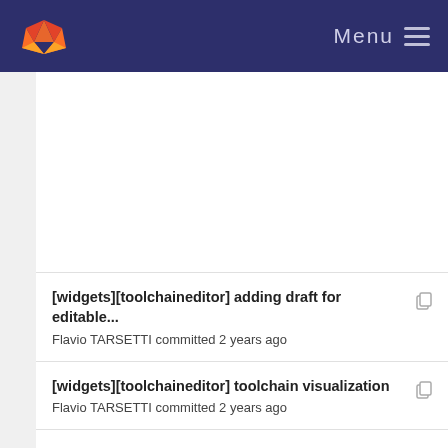Menu
[widgets][toolchaineditor] adding draft for editable... Flavio TARSETTI committed 2 years ago
[widgets][toolchaineditor] toolchain visualization Flavio TARSETTI committed 2 years ago
[widgets][toolchaineditor] adding draft for editable... Flavio TARSETTI committed 2 years ago
[widgets][toolchaineditor] toolchain visualization Flavio TARSETTI committed 2 years ago